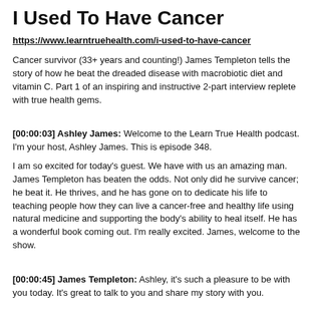I Used To Have Cancer
https://www.learntruehealth.com/i-used-to-have-cancer
Cancer survivor (33+ years and counting!) James Templeton tells the story of how he beat the dreaded disease with macrobiotic diet and vitamin C. Part 1 of an inspiring and instructive 2-part interview replete with true health gems.
[00:00:03] Ashley James: Welcome to the Learn True Health podcast. I'm your host, Ashley James. This is episode 348.
I am so excited for today's guest. We have with us an amazing man. James Templeton has beaten the odds. Not only did he survive cancer; he beat it. He thrives, and he has gone on to dedicate his life to teaching people how they can live a cancer-free and healthy life using natural medicine and supporting the body's ability to heal itself. He has a wonderful book coming out. I'm really excited. James, welcome to the show.
[00:00:45] James Templeton: Ashley, it's such a pleasure to be with you today. It's great to talk to you and share my story with you.
[00:00:52] Ashley James: Absolutely. I know all of our listeners want to